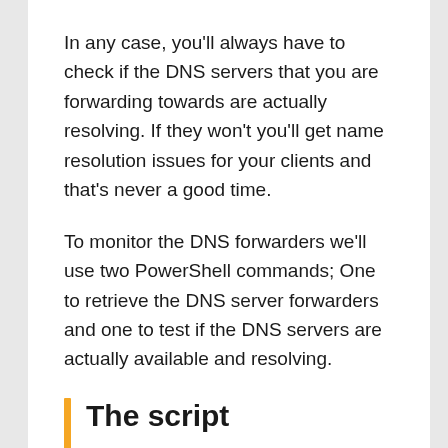In any case, you'll always have to check if the DNS servers that you are forwarding towards are actually resolving. If they won't you'll get name resolution issues for your clients and that's never a good time.
To monitor the DNS forwarders we'll use two PowerShell commands; One to retrieve the DNS server forwarders and one to test if the DNS servers are actually available and resolving.
The script
So let's break this script down, because it's actually quite multi-functional.